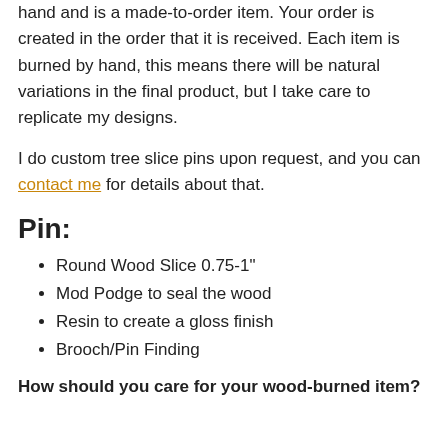hand and is a made-to-order item. Your order is created in the order that it is received. Each item is burned by hand, this means there will be natural variations in the final product, but I take care to replicate my designs.
I do custom tree slice pins upon request, and you can contact me for details about that.
Pin:
Round Wood Slice 0.75-1"
Mod Podge to seal the wood
Resin to create a gloss finish
Brooch/Pin Finding
How should you care for your wood-burned item?